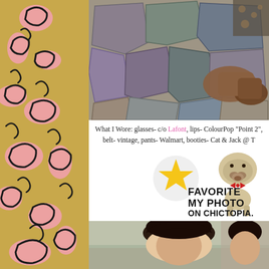[Figure (photo): Top-down view of stone paver ground with brown suede booties and bottom of patterned pants/bag visible]
What I Wore: glasses- c/o Lafont, lips- ColourPop "Point 2", belt- vintage, pants- Walmart, booties- Cat & Jack @ T
[Figure (logo): FAVORITE MY PHOTO ON CHICTOPIA. badge with yellow star and cartoon pug dog illustration]
[Figure (photo): Portrait photo of person with dark hair, outdoors]
[Figure (illustration): Decorative left panel with pink leopard print spots on gold/tan background]